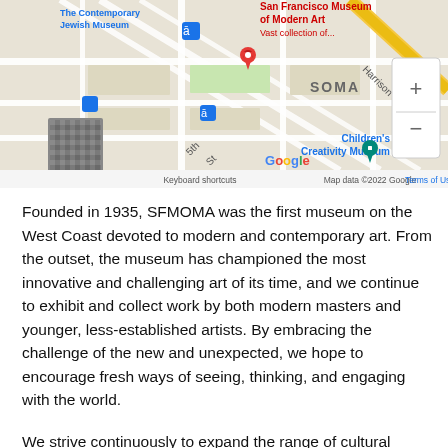[Figure (map): Google Maps screenshot showing SOMA district in San Francisco. Shows SF Museum of Modern Art with red pin and 'Vast collection of...' label, The Contemporary Jewish Museum, Children's Creativity Museum, Harrison St, 5th St labels, zoom controls (+/-), Google logo, and footer text 'Keyboard shortcuts  Map data ©2022 Google  Terms of Use'.]
Founded in 1935, SFMOMA was the first museum on the West Coast devoted to modern and contemporary art. From the outset, the museum has championed the most innovative and challenging art of its time, and we continue to exhibit and collect work by both modern masters and younger, less-established artists. By embracing the challenge of the new and unexpected, we hope to encourage fresh ways of seeing, thinking, and engaging with the world.
We strive continuously to expand the range of cultural experiences we offer, and to provide as many ways as possible to make the art meaningful and accessible for our community. To that end, we are enhancing the museum's role